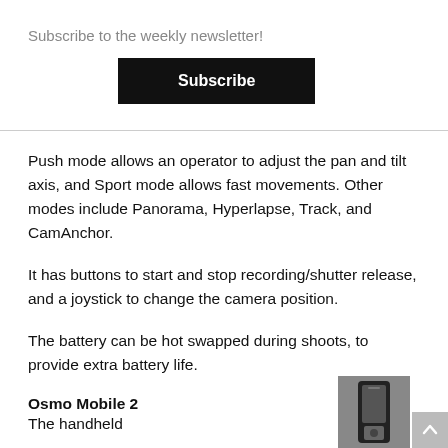Subscribe to the weekly newsletter!
Subscribe
Push mode allows an operator to adjust the pan and tilt axis, and Sport mode allows fast movements. Other modes include Panorama, Hyperlapse, Track, and CamAnchor.
It has buttons to start and stop recording/shutter release, and a joystick to change the camera position.
The battery can be hot swapped during shoots, to provide extra battery life.
Osmo Mobile 2
The handheld
[Figure (photo): Partial photo of Osmo Mobile 2 device at bottom right]